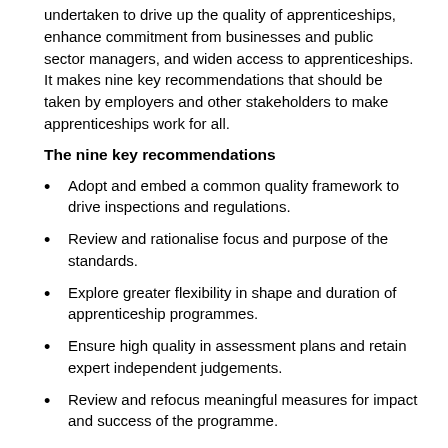undertaken to drive up the quality of apprenticeships, enhance commitment from businesses and public sector managers, and widen access to apprenticeships. It makes nine key recommendations that should be taken by employers and other stakeholders to make apprenticeships work for all.
The nine key recommendations
Adopt and embed a common quality framework to drive inspections and regulations.
Review and rationalise focus and purpose of the standards.
Explore greater flexibility in shape and duration of apprenticeship programmes.
Ensure high quality in assessment plans and retain expert independent judgements.
Review and refocus meaningful measures for impact and success of the programme.